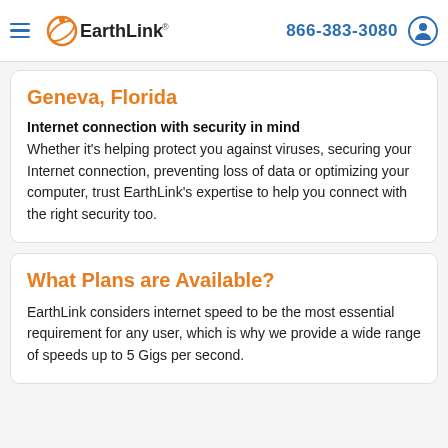EarthLink | 866-383-3080
Geneva, Florida
Internet connection with security in mind
Whether it's helping protect you against viruses, securing your Internet connection, preventing loss of data or optimizing your computer, trust EarthLink's expertise to help you connect with the right security too.
What Plans are Available?
EarthLink considers internet speed to be the most essential requirement for any user, which is why we provide a wide range of speeds up to 5 Gigs per second.